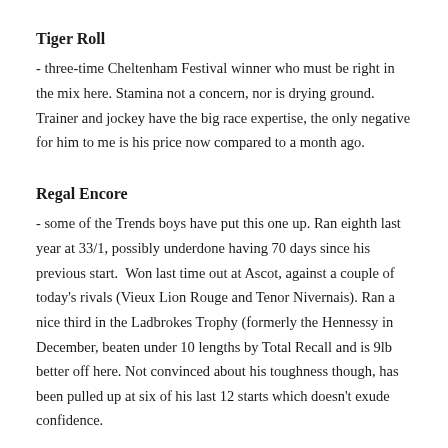Tiger Roll
- three-time Cheltenham Festival winner who must be right in the mix here. Stamina not a concern, nor is drying ground. Trainer and jockey have the big race expertise, the only negative for him to me is his price now compared to a month ago.
Regal Encore
- some of the Trends boys have put this one up. Ran eighth last year at 33/1, possibly underdone having 70 days since his previous start.  Won last time out at Ascot, against a couple of today's rivals (Vieux Lion Rouge and Tenor Nivernais). Ran a nice third in the Ladbrokes Trophy (formerly the Hennessy in December, beaten under 10 lengths by Total Recall and is 9lb better off here. Not convinced about his toughness though, has been pulled up at six of his last 12 starts which doesn't exude confidence.